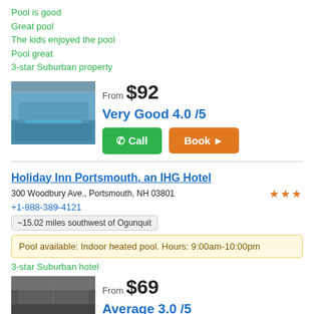Pool is good
Great pool
The kids enjoyed the pool
Pool great
3-star Suburban property
[Figure (photo): Indoor hotel pool with blue water and overhead lighting]
From $92
Very Good 4.0 /5
Call
Book >
Holiday Inn Portsmouth, an IHG Hotel
300 Woodbury Ave., Portsmouth, NH 03801
+1-888-389-4121
~15.02 miles southwest of Ogunquit
Pool available: Indoor heated pool. Hours: 9:00am-10:00pm
3-star Suburban hotel
[Figure (photo): Indoor hotel pool area viewed from below]
From $69
Average 3.0 /5